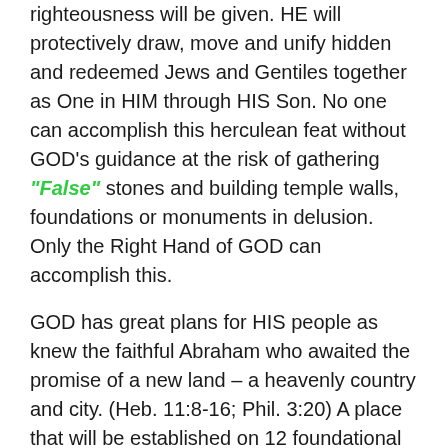righteousness will be given. HE will protectively draw, move and unify hidden and redeemed Jews and Gentiles together as One in HIM through HIS Son. No one can accomplish this herculean feat without GOD's guidance at the risk of gathering "False" stones and building temple walls, foundations or monuments in delusion. Only the Right Hand of GOD can accomplish this.
GOD has great plans for HIS people as knew the faithful Abraham who awaited the promise of a new land – a heavenly country and city. (Heb. 11:8-16; Phil. 3:20) A place that will be established on 12 foundational stones that bear the names of Jesus' 12 New Covenant Apostles. Yes, HE has great plans waiting in the wings for His faithful ones! Follow the way the Lord made passable into the promised land today. GOD can do this for you. Believe and trust HIM in everything – nothing is impossible. HE is our Leader, HE is our strength and HE is monumental! HE is GOD!